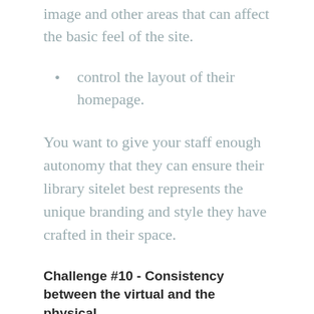image and other areas that can affect the basic feel of the site.
control the layout of their homepage.
You want to give your staff enough autonomy that they can ensure their library sitelet best represents the unique branding and style they have crafted in their space.
Challenge #10 - Consistency between the virtual and the physical